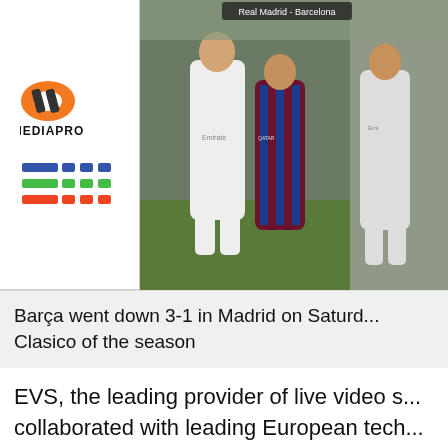[Figure (logo): MEDIAPRO logo - orange double-M icon above the word MEDIAPRO in black]
[Figure (logo): EVS logo with colored horizontal stripes (blue, green, red) forming stylized EVS letters]
[Figure (photo): Football match photos showing players from Real Madrid (white kit) and FC Barcelona (dark red/blue kit) during El Clasico]
Barça went down 3-1 in Madrid on Saturday, in the first Clasico of the season
EVS, the leading provider of live video s... collaborated with leading European tech... provider, Mediapro, for cutting-edge live... El Clásico. During the latest El Clásico... between Real Madrid CF and FC Barce... broadcaster used 27 cameras, 4K techn... instant multi-angle review. The match w...